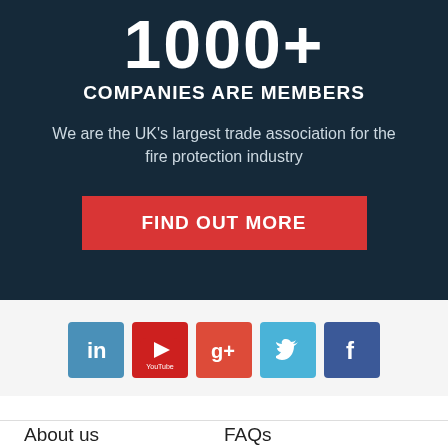1000+
COMPANIES ARE MEMBERS
We are the UK's largest trade association for the fire protection industry
FIND OUT MORE
[Figure (infographic): Row of 5 social media icons: LinkedIn, YouTube, Google+, Twitter, Facebook]
About us
T&Cs
Cookies
FAQs
Privacy policy
Contact us